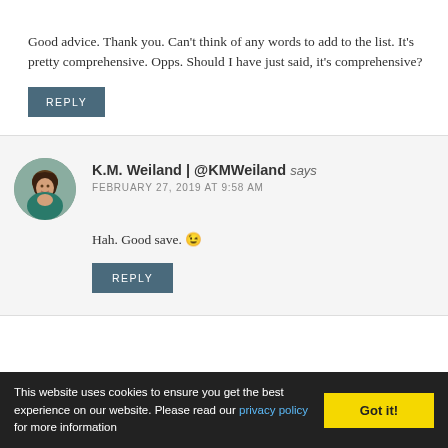Good advice. Thank you. Can't think of any words to add to the list. It's pretty comprehensive. Opps. Should I have just said, it's comprehensive?
REPLY
K.M. Weiland | @KMWeiland says
FEBRUARY 27, 2019 AT 9:58 AM
[Figure (photo): Circular avatar photo of K.M. Weiland, a woman with long brown hair]
Hah. Good save. 😉
REPLY
This website uses cookies to ensure you get the best experience on our website. Please read our privacy policy for more information
Got it!